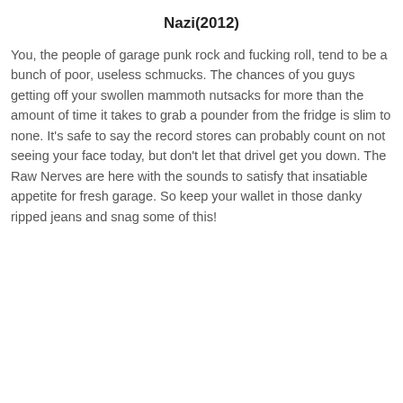Nazi(2012)
You, the people of garage punk rock and fucking roll, tend to be a bunch of poor, useless schmucks. The chances of you guys getting off your swollen mammoth nutsacks for more than the amount of time it takes to grab a pounder from the fridge is slim to none. It's safe to say the record stores can probably count on not seeing your face today, but don't let that drivel get you down. The Raw Nerves are here with the sounds to satisfy that insatiable appetite for fresh garage. So keep your wallet in those danky ripped jeans and snag some of this!